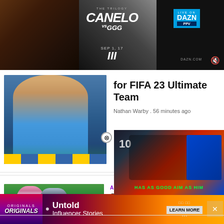[Figure (photo): Boxing advertisement banner: CANELO vs GGG THE TRILOGY fight promoted on DAZN PPV, SEP 17, with two boxer profiles and branding]
[Figure (photo): FIFA 23 Ultimate Team article thumbnail showing a soccer player video game character in blue jersey with crowd in background]
for FIFA 23 Ultimate Team
Nathan Warby . 56 minutes ago
[Figure (photo): Spy x Family anime article thumbnail showing animated characters in an action scene on green background]
ANIME
Spy x Family anime announces Part 2 release d…
[Figure (screenshot): Floating video player showing esports/gaming content with text HAS AS GOOD AIM AS HIM in green, with close button]
[Figure (photo): Bottom advertisement: Originals - Untold Influencer Stories with LEARN MORE button]